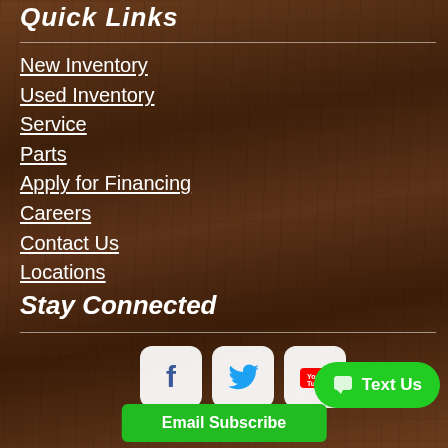Quick Links
New Inventory
Used Inventory
Service
Parts
Apply for Financing
Careers
Contact Us
Locations
Stay Connected
[Figure (logo): Facebook, Twitter, and YouTube social media icons in white rounded squares]
Text Us
Email Subscribe